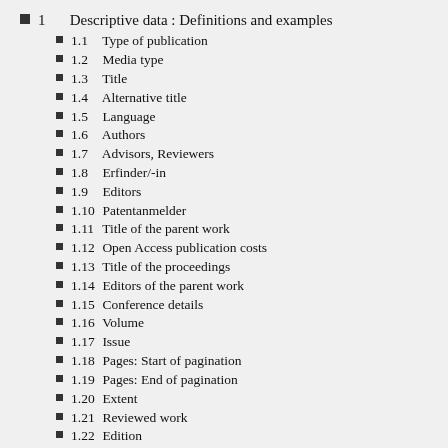1  Descriptive data : Definitions and examples
1.1  Type of publication
1.2  Media type
1.3  Title
1.4  Alternative title
1.5  Language
1.6  Authors
1.7  Advisors, Reviewers
1.8  Erfinder/-in
1.9  Editors
1.10  Patentanmelder
1.11  Title of the parent work
1.12  Open Access publication costs
1.13  Title of the proceedings
1.14  Editors of the parent work
1.15  Conference details
1.16  Volume
1.17  Issue
1.18  Pages: Start of pagination
1.19  Pages: End of pagination
1.20  Extent
1.21  Reviewed work
1.22  Edition
1.23  Date of publication
1.24  Publisher, Ed. Institution